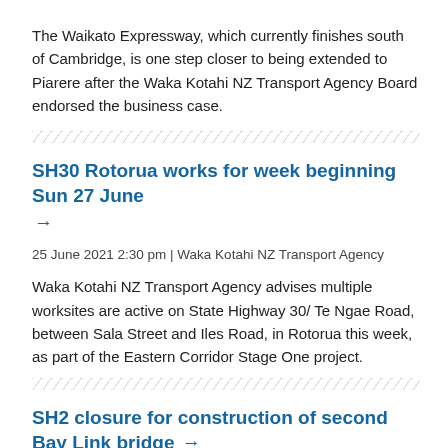The Waikato Expressway, which currently finishes south of Cambridge, is one step closer to being extended to Piarere after the Waka Kotahi NZ Transport Agency Board endorsed the business case.
SH30 Rotorua works for week beginning Sun 27 June →
25 June 2021 2:30 pm | Waka Kotahi NZ Transport Agency
Waka Kotahi NZ Transport Agency advises multiple worksites are active on State Highway 30/ Te Ngae Road, between Sala Street and Iles Road, in Rotorua this week, as part of the Eastern Corridor Stage One project.
SH2 closure for construction of second Bay Link bridge →